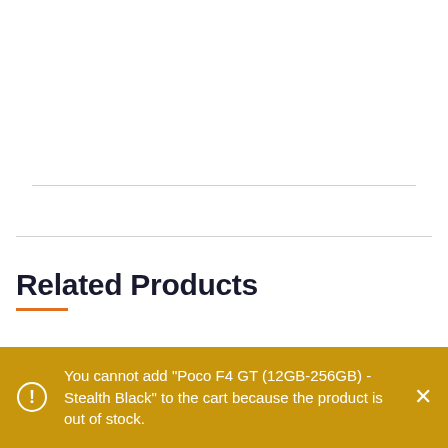Related Products
[Figure (screenshot): Two product card placeholders in a grid layout, partially visible at the bottom of the page]
You cannot add "Poco F4 GT (12GB-256GB) - Stealth Black" to the cart because the product is out of stock.